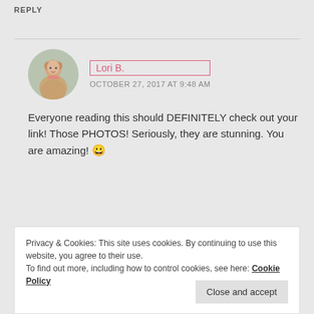REPLY
Lori B.
OCTOBER 27, 2017 AT 9:48 AM
Everyone reading this should DEFINITELY check out your link! Those PHOTOS! Seriously, they are stunning. You are amazing! 😀
Privacy & Cookies: This site uses cookies. By continuing to use this website, you agree to their use.
To find out more, including how to control cookies, see here: Cookie Policy
Close and accept